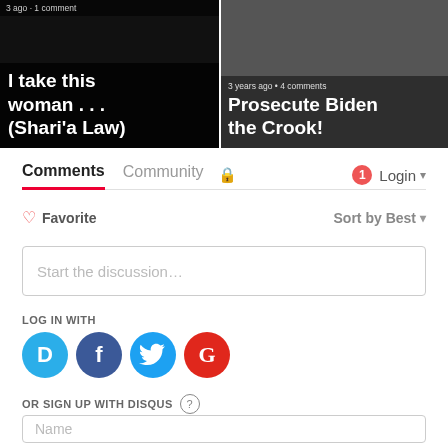[Figure (screenshot): Two article thumbnail images side by side. Left: dark image with masked figure, text 'I take this woman . . . (Shari'a Law)'. Right: person with medals, text '3 years ago • 4 comments  Prosecute Biden the Crook!']
Comments  Community  🔒  1  Login
♡ Favorite   Sort by Best
Start the discussion...
LOG IN WITH
[Figure (logo): Social login icons: Disqus (D), Facebook (f), Twitter bird, Google (G)]
OR SIGN UP WITH DISQUS ?
Name